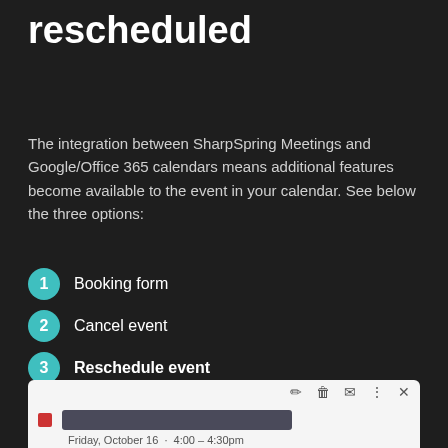rescheduled
The integration between SharpSpring Meetings and Google/Office 365 calendars means additional features become available to the event in your calendar. See below the three options:
1 Booking form
2 Cancel event
3 Reschedule event
[Figure (screenshot): Google Calendar event popup showing a calendar event on Friday, October 16, 4:00 - 4:30pm with toolbar icons (edit, delete, email, more, close) and a red event indicator.]